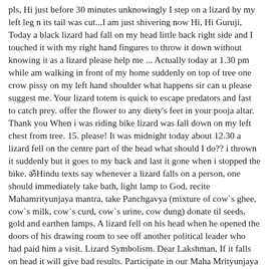pls, Hi just before 30 minutes unknowingly I step on a lizard by my left leg n its tail was cut...I am just shivering now Hi, Hi Guruji, Today a black lizard had fall on my head little back right side and I touched it with my right hand fingures to throw it down without knowing it as a lizard please help me ... Actually today at 1.30 pm while am walking in front of my home suddenly on top of tree one crow pissy on my left hand shoulder what happens sir can u please suggest me. Your lizard totem is quick to escape predators and fast to catch prey. offer the flower to any diety's feet in your pooja altar. Thank you When i was riding bike lizard was fall down on my left chest from tree. 15. please! It was midnight today about 12.30 a lizard fell on the centre part of the head what should I do?? i thrown it suddenly but it goes to my back and last it gone when i stopped the bike. ॐHindu texts say whenever a lizard falls on a person, one should immediately take bath, light lamp to God, recite Mahamrityunjaya mantra, take Panchgavya (mixture of cow`s ghee, cow`s milk, cow`s curd, cow`s urine, cow dung) donate til seeds, gold and earthen lamps. A lizard fell on his head when he opened the doors of his drawing room to see off another political leader who had paid him a visit. Lizard Symbolism. Dear Lakshman, If it falls on head it will give bad results. Participate in our Maha Mrityunjaya Homa overcome fear of death & lead a long and healthy life, Namaste Koushik,Thank you for your Query.Please do not worry, nothing negative will happen.Please take some handful of water holding on your hand and chant the Gayathri mantra for 27 times, and sprinkle the water on your head.